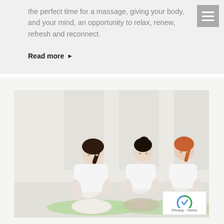the perfect time for a massage, giving your body, and your mind, an opportunity to relax, renew, refresh and reconnect.
Read more ▶
[Figure (photo): Three pregnant women sitting cross-legged on green yoga mats in a bright white room, meditating in lotus position wearing white tank tops.]
[Figure (logo): reCAPTCHA badge with Privacy and Terms links]